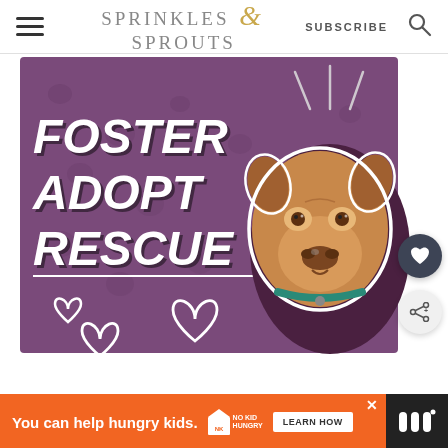Sprinkles & Sprouts | SUBSCRIBE
[Figure (illustration): Foster Adopt Rescue promotional image on purple background featuring a tan pit bull dog with teal collar, white outlined hearts, and decorative lines. Bold white italic text reads FOSTER ADOPT RESCUE.]
[Figure (infographic): Ad banner: orange background with text 'You can help hungry kids.' No Kid Hungry logo and 'LEARN HOW' button. Dark right section with stylized logo marks.]